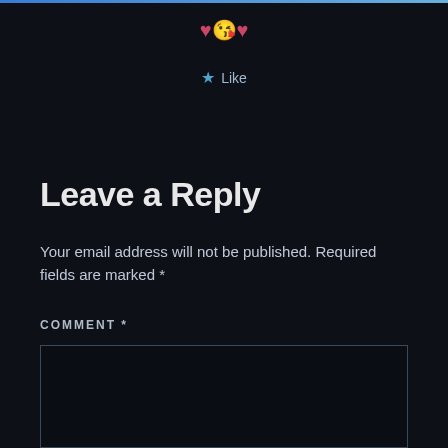[Figure (other): Emoji row: heart, kissing face emoji, heart — ♥😘♥]
★ Like
Leave a Reply
Your email address will not be published. Required fields are marked *
COMMENT *
[Figure (other): Comment text input box, empty, dark background with border]